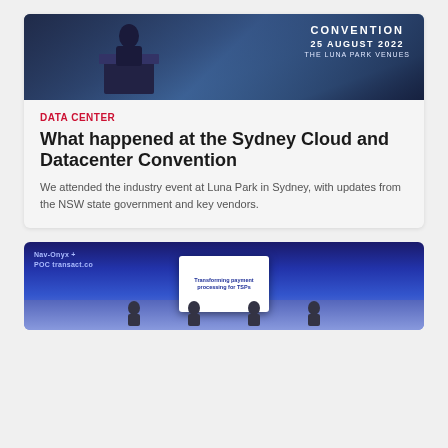[Figure (photo): Photo from Sydney Cloud and Datacenter Convention showing a speaker at a podium in front of a banner reading 'CONVENTION, 25 AUGUST 2022, THE LUNA PARK VENUES']
DATA CENTER
What happened at the Sydney Cloud and Datacenter Convention
We attended the industry event at Luna Park in Sydney, with updates from the NSW state government and key vendors.
[Figure (photo): Photo of a stage presentation showing a screen with text 'Transforming payment processing for TSPs' with logos and a dashboard display, speakers visible on stage]